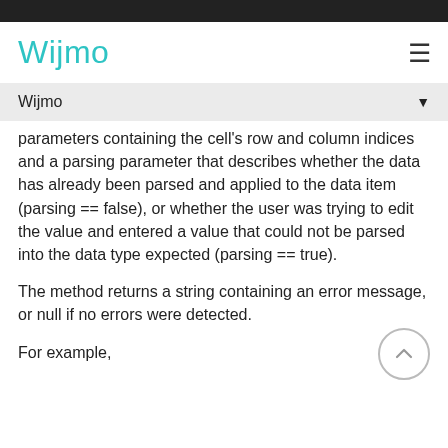Wijmo
Wijmo
parameters containing the cell's row and column indices and a parsing parameter that describes whether the data has already been parsed and applied to the data item (parsing == false), or whether the user was trying to edit the value and entered a value that could not be parsed into the data type expected (parsing == true).
The method returns a string containing an error message, or null if no errors were detected.
For example,